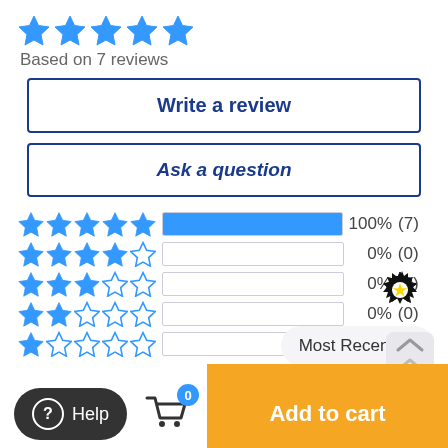[Figure (illustration): 5 filled blue stars rating]
Based on 7 reviews
Write a review
Ask a question
[Figure (bar-chart): Rating breakdown]
[Figure (illustration): Badge/rosette icon]
Most Recent
Help
Add to cart